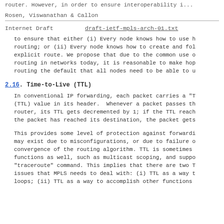router. However, in order to ensure interoperability i...
Rosen, Viswanathan & Callon
Internet Draft    draft-ietf-mpls-arch-01.txt
to ensure that either (i) Every node knows how to use hop-by-hop routing; or (ii) Every node knows how to create and follow an explicit route. We propose that due to the common use of hop-by-hop routing in networks today, it is reasonable to make hop-by-hop routing the default that all nodes need to be able to use.
2.16. Time-to-Live (TTL)
In conventional IP forwarding, each packet carries a "Time-to-Live" (TTL) value in its header. Whenever a packet passes through a router, its TTL gets decremented by 1; if the TTL reaches 0 before the packet has reached its destination, the packet gets discarded.
This provides some level of protection against forwarding loops that may exist due to misconfigurations, or due to failure of rapid convergence of the routing algorithm. TTL is sometimes used for other functions as well, such as multicast scoping, and support of the "traceroute" command. This implies that there are two TTL-related issues that MPLS needs to deal with: (i) TTL as a way to detect loops; (ii) TTL as a way to accomplish other functions...